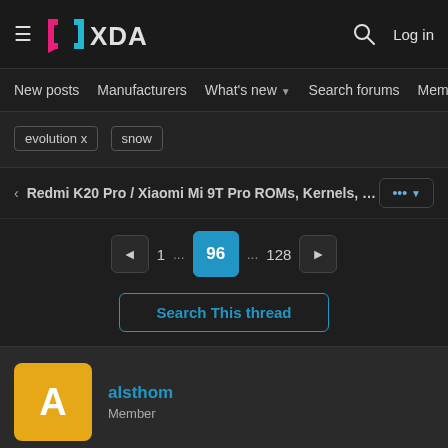XDA — Log in
New posts  Manufacturers  What's new  Search forums  Members  >
evolution x
snow
< Redmi K20 Pro / Xiaomi Mi 9T Pro ROMs, Kernels, Re   ... ▼
◄  1  ...  96  ...  128  ►
Search This thread
alsthom
Member
May 26, 2022  #1,901